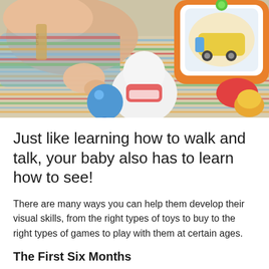[Figure (photo): A baby in a striped onesie with overalls lying near colorful toys including a blue rattle, a white toy with red details, and an orange and white tablet-style toy with a cartoon image on the screen.]
Just like learning how to walk and talk, your baby also has to learn how to see!
There are many ways you can help them develop their visual skills, from the right types of toys to buy to the right types of games to play with them at certain ages.
The First Six Months